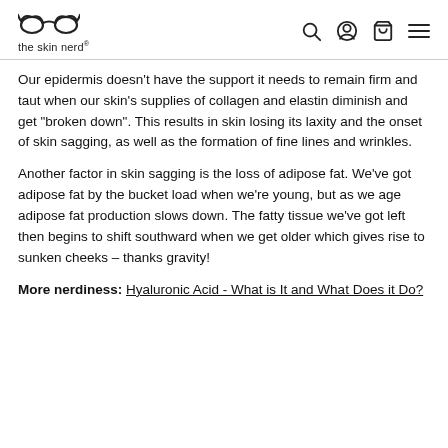the skin nerd
Our epidermis doesn’t have the support it needs to remain firm and taut when our skin’s supplies of collagen and elastin diminish and get “broken down”. This results in skin losing its laxity and the onset of skin sagging, as well as the formation of fine lines and wrinkles.
Another factor in skin sagging is the loss of adipose fat. We’ve got adipose fat by the bucket load when we’re young, but as we age adipose fat production slows down. The fatty tissue we’ve got left then begins to shift southward when we get older which gives rise to sunken cheeks – thanks gravity!
More nerdiness: Hyaluronic Acid - What is It and What Does it Do?